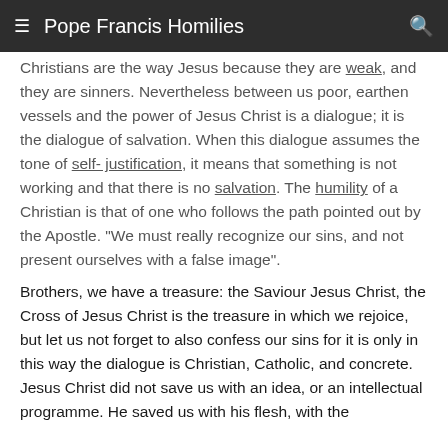Pope Francis Homilies
Christians are the way Jesus because they are weak, and they are sinners. Nevertheless between us poor, earthen vessels and the power of Jesus Christ is a dialogue; it is the dialogue of salvation. When this dialogue assumes the tone of self-justification, it means that something is not working and that there is no salvation. The humility of a Christian is that of one who follows the path pointed out by the Apostle. "We must really recognize our sins, and not present ourselves with a false image".
Brothers, we have a treasure: the Saviour Jesus Christ, the Cross of Jesus Christ is the treasure in which we rejoice, but let us not forget to also confess our sins for it is only in this way the dialogue is Christian, Catholic, and concrete. Jesus Christ did not save us with an idea, or an intellectual programme. He saved us with his flesh, with the